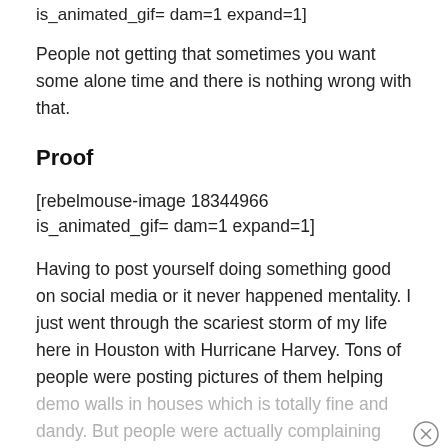is_animated_gif= dam=1 expand=1]
People not getting that sometimes you want some alone time and there is nothing wrong with that.
Proof
[rebelmouse-image 18344966 is_animated_gif= dam=1 expand=1]
Having to post yourself doing something good on social media or it never happened mentality. I just went through the scariest storm of my life here in Houston with Hurricane Harvey. Tons of people were posting pictures of them helping demo walls in houses which is totally fine and dandy. But people were actually complaining